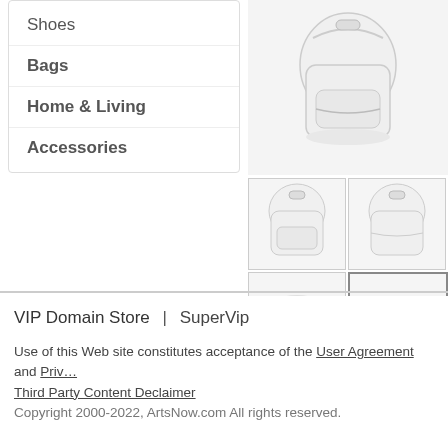Shoes
Bags
Home & Living
Accessories
[Figure (photo): White backpack product images - main view and 5 thumbnail views showing front, back, side, and interior of a white backpack]
VIP Domain Store | SuperVip
Use of this Web site constitutes acceptance of the User Agreement and Privacy Policy and Third Party Content Declaimer
Copyright 2000-2022, ArtsNow.com All rights reserved.